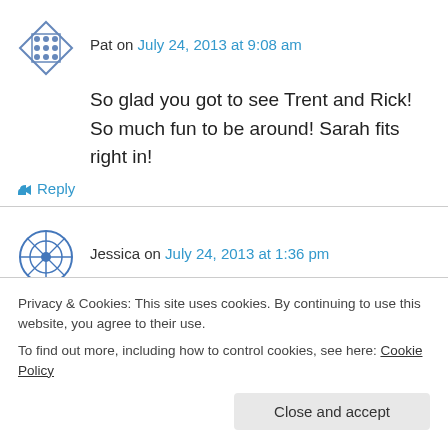Pat on July 24, 2013 at 9:08 am
So glad you got to see Trent and Rick! So much fun to be around! Sarah fits right in!
↳ Reply
Jessica on July 24, 2013 at 1:36 pm
My experience with Cal Tech is that they give their undergrads tens of thousands of dollars to throw parties. They have to prod them to
Privacy & Cookies: This site uses cookies. By continuing to use this website, you agree to their use.
To find out more, including how to control cookies, see here: Cookie Policy
Close and accept